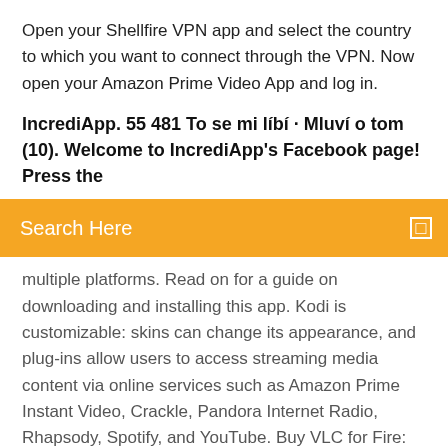Open your Shellfire VPN app and select the country to which you want to connect through the VPN. Now open your Amazon Prime Video App and log in.
IncrediApp. 55 481 To se mi líbí · Mluví o tom (10). Welcome to IncrediApp's Facebook page! Press the
Search Here
multiple platforms. Read on for a guide on downloading and installing this app. Kodi is customizable: skins can change its appearance, and plug-ins allow users to access streaming media content via online services such as Amazon Prime Instant Video, Crackle, Pandora Internet Radio, Rhapsody, Spotify, and YouTube. Buy VLC for Fire: Read 5549 Apps & Games Reviews - Amazon.com Buy Ocean Browser 2.0: Read 293 Apps & Games Reviews - Amazon.com To help you download your favorite TV shows and movies from Amazon to stream on your Windows PC, here we list the best 3 ways you